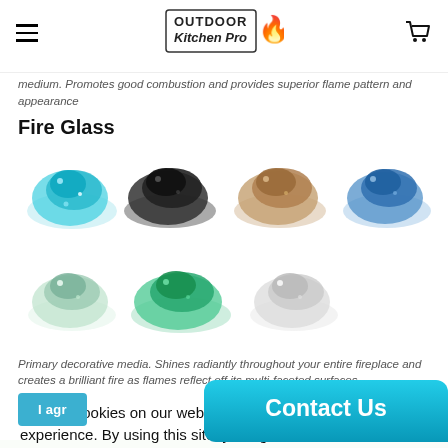Outdoor Kitchen Pro
medium. Promotes good combustion and provides superior flame pattern and appearance
Fire Glass
[Figure (photo): Seven piles of decorative fire glass in various colors: turquoise, black, tan/brown, blue (row 1); light green/clear, teal/green, white/clear (row 2)]
Primary decorative media. Shines radiantly throughout your entire fireplace and creates a brilliant fire as flames reflect off its multi-faceted surfaces
We use cookies on our website to give you the best shopping experience. By using this site, you agree to its use of cookies.
I agr
Contact Us